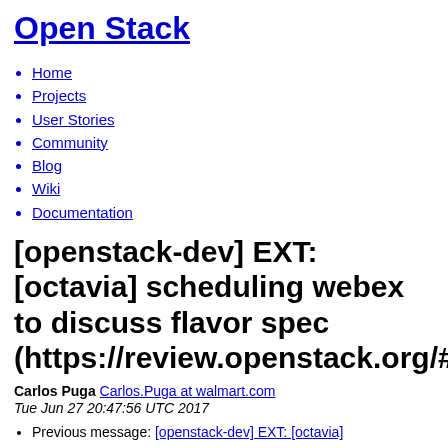Open Stack
Home
Projects
User Stories
Community
Blog
Wiki
Documentation
[openstack-dev] EXT: [octavia] scheduling webex to discuss flavor spec (https://review.openstack.org/#/c
Carlos Puga Carlos.Puga at walmart.com
Tue Jun 27 20:47:56 UTC 2017
Previous message: [openstack-dev] EXT: [octavia]